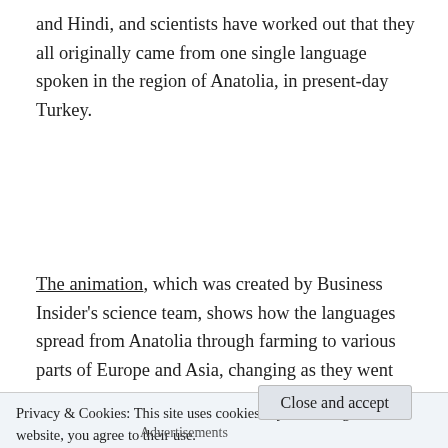and Hindi, and scientists have worked out that they all originally came from one single language spoken in the region of Anatolia, in present-day Turkey.
The animation, which was created by Business Insider's science team, shows how the languages spread from Anatolia through farming to various parts of Europe and Asia, changing as they went until they eventually became the languages we recognise today. And it's pretty crazy to think that such varied
Privacy & Cookies: This site uses cookies. By continuing to use this website, you agree to their use.
To find out more, including how to control cookies, see here: Cookie Policy
Close and accept
Advertisements